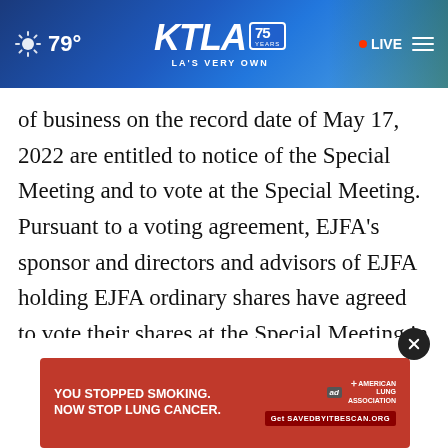[Figure (screenshot): KTLA 75 Years – LA's Very Own website header bar with weather (79°), KTLA logo, and LIVE badge]
of business on the record date of May 17, 2022 are entitled to notice of the Special Meeting and to vote at the Special Meeting. Pursuant to a voting agreement, EJFA's sponsor and directors and advisors of EJFA holding EJFA ordinary shares have agreed to vote their shares at the Special Meeting in favor of the approval of the Business Combination and related proposals.
The closing of the Business Combination is subje... and
[Figure (screenshot): Advertisement banner: YOU STOPPED SMOKING. NOW STOP LUNG CANCER. American Lung Association. Get SAVEDBYITBESCAN.ORG]